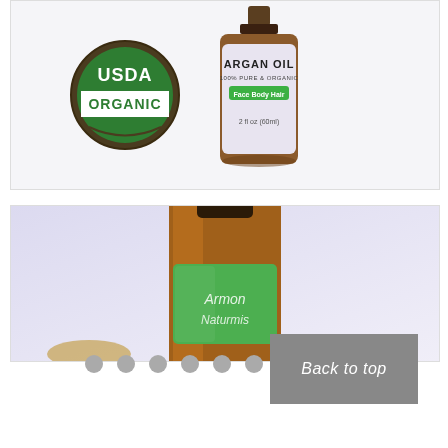[Figure (photo): Argan Oil product bottle (100% Pure & Organic, Face Body Hair, 2 fl oz 60ml) shown with USDA Organic certification seal on white/light background]
[Figure (photo): Close-up of amber glass bottle with green label reading 'Argan Naturals', blurred background]
[Figure (infographic): Navigation pagination dots (7 gray circles) and a gray 'Back to top' button]